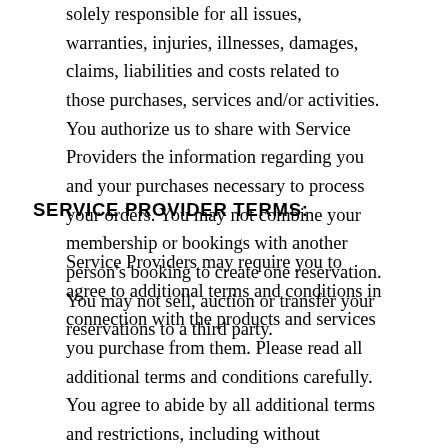solely responsible for all issues, warranties, injuries, illnesses, damages, claims, liabilities and costs related to those purchases, services and/or activities. You authorize us to share with Service Providers the information regarding you and your purchases necessary to process your orders. You may not combine your membership or bookings with another person's booking to create one reservation. You may not sell, auction or transfer your reservations to a third party.
SERVICE PROVIDER TERMS:
Service Providers may require you to agree to additional terms and conditions in connection with the products and services you purchase from them. Please read all additional terms and conditions carefully. You agree to abide by all additional terms and restrictions, including without limitation, availability, age and occupancy requirements, pet policies, policies on children, fares and other restrictions. You agree that any violation of any such terms and/or restrictions may